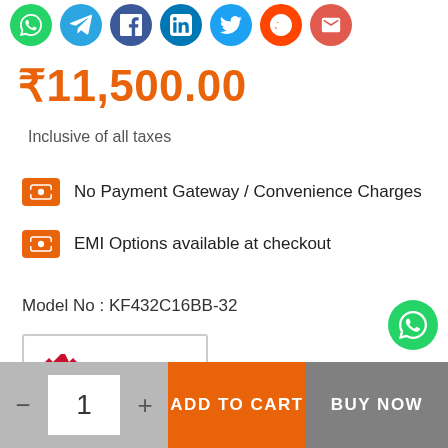[Figure (other): Row of social sharing icons: WhatsApp (green), Telegram (blue), Facebook (dark blue), LinkedIn (blue), Twitter (light blue), Reddit (orange-red), Email (red)]
₹11,500.00
Inclusive of all taxes
No Payment Gateway / Convenience Charges
EMI Options available at checkout
Model No : KF432C16BB-32
[Figure (logo): Kingston Technology logo in a bordered box]